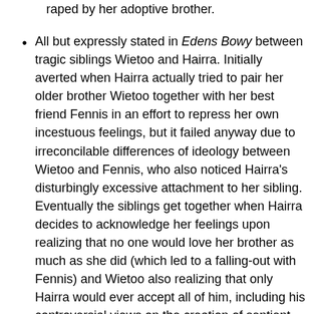raped by her adoptive brother.
All but expressly stated in Edens Bowy between tragic siblings Wietoo and Hairra. Initially averted when Hairra actually tried to pair her older brother Wietoo together with her best friend Fennis in an effort to repress her own incestuous feelings, but it failed anyway due to irreconcilable differences of ideology between Wietoo and Fennis, who also noticed Hairra's disturbingly excessive attachment to her sibling. Eventually the siblings get together when Hairra decides to acknowledge her feelings upon realizing that no one would love her brother as much as she did (which led to a falling-out with Fennis) and Wietoo also realizing that only Hairra would ever accept all of him, including his controversial views on the creation of sentient A.I. Hairra is soon killed tragically sometime afterwards when Wietoo's first android goes berzerk, and she is reborn as his personal gynoid weapon/bodyguard. Later, when they are both killed at the series end, they are reborn together as sentient programs together roaming